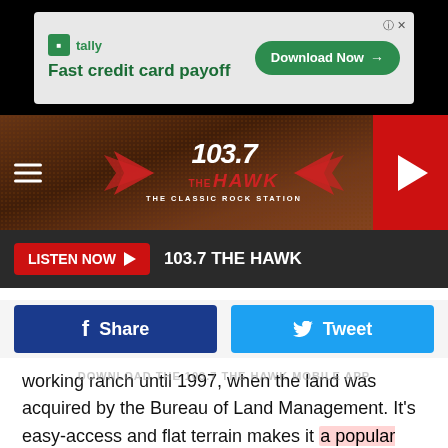[Figure (screenshot): Tally ad banner: Fast credit card payoff with Download Now button]
[Figure (screenshot): 103.7 The Hawk Classic Rock Station radio header with logo, hamburger menu, and play button]
[Figure (screenshot): Listen Now button bar with 103.7 THE HAWK station name on dark background]
[Figure (screenshot): Facebook Share and Twitter Tweet social sharing buttons]
working ranch until 1997, when the land was acquired by the Bureau of Land Management. It's easy-access and flat terrain makes it a popular destination for dog walkers, joggers, fishermen, bird watchers and others looking for some serenity.
[Figure (photo): Forest/trees with blue sky visible through canopy]
[Figure (screenshot): Tally ad banner bottom: Fast credit card payoff with Download Now button]